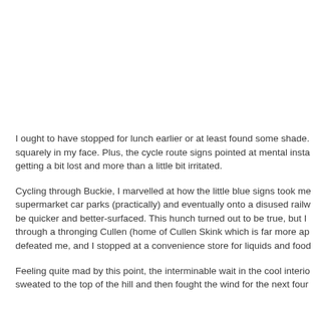I ought to have stopped for lunch earlier or at least found some shade. squarely in my face. Plus, the cycle route signs pointed at mental insta getting a bit lost and more than a little bit irritated.
Cycling through Buckie, I marvelled at how the little blue signs took me supermarket car parks (practically) and eventually onto a disused railw be quicker and better-surfaced. This hunch turned out to be true, but I through a thronging Cullen (home of Cullen Skink which is far more ap defeated me, and I stopped at a convenience store for liquids and food
Feeling quite mad by this point, the interminable wait in the cool interio sweated to the top of the hill and then fought the wind for the next four